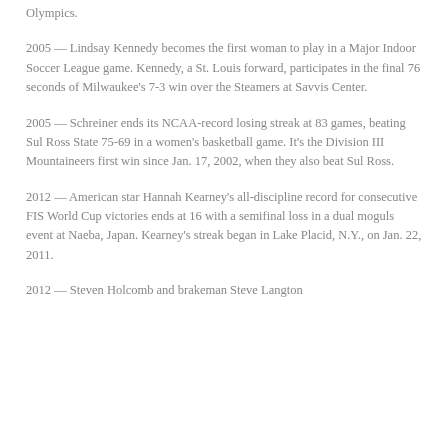Olympics.
2005 — Lindsay Kennedy becomes the first woman to play in a Major Indoor Soccer League game. Kennedy, a St. Louis forward, participates in the final 76 seconds of Milwaukee's 7-3 win over the Steamers at Savvis Center.
2005 — Schreiner ends its NCAA-record losing streak at 83 games, beating Sul Ross State 75-69 in a women's basketball game. It's the Division III Mountaineers first win since Jan. 17, 2002, when they also beat Sul Ross.
2012 — American star Hannah Kearney's all-discipline record for consecutive FIS World Cup victories ends at 16 with a semifinal loss in a dual moguls event at Naeba, Japan. Kearney's streak began in Lake Placid, N.Y., on Jan. 22, 2011.
2012 — Steven Holcomb and brakeman Steve Langton